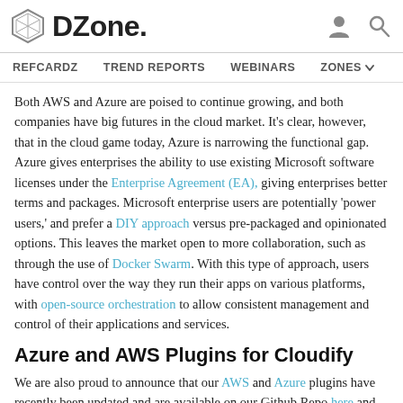DZone. | REFCARDZ | TREND REPORTS | WEBINARS | ZONES
Both AWS and Azure are poised to continue growing, and both companies have big futures in the cloud market. It’s clear, however, that in the cloud game today, Azure is narrowing the functional gap. Azure gives enterprises the ability to use existing Microsoft software licenses under the Enterprise Agreement (EA), giving enterprises better terms and packages. Microsoft enterprise users are potentially ‘power users,’ and prefer a DIY approach versus pre-packaged and opinionated options. This leaves the market open to more collaboration, such as through the use of Docker Swarm. With this type of approach, users have control over the way they run their apps on various platforms, with open-source orchestration to allow consistent management and control of their applications and services.
Azure and AWS Plugins for Cloudify
We are also proud to announce that our AWS and Azure plugins have recently been updated and are available on our Github Repo here and here.